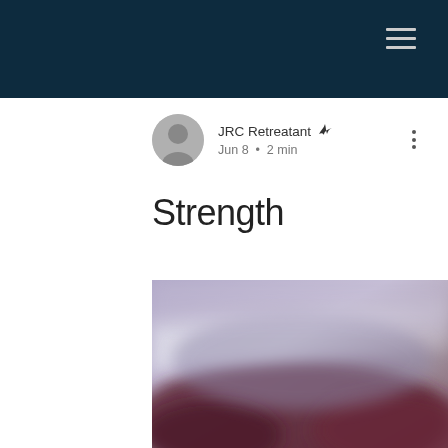Navigation bar with hamburger menu
JRC Retreatant ✒ Jun 8 • 2 min
Strength
[Figure (photo): Blurred close-up photograph with purple and dark reddish-brown tones, appears to show a snowy or icy surface with objects beneath, heavily defocused.]